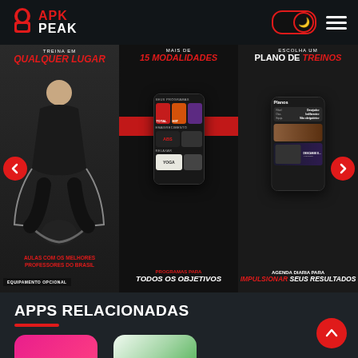[Figure (screenshot): APK Peak website header with logo, dark mode toggle, and hamburger menu on dark background]
[Figure (screenshot): App screenshot carousel showing 3 slides: (1) woman exercising with text TREINA EM QUALQUER LUGAR, AULAS COM OS MELHORES PROFESSORES DO BRASIL, EQUIPAMENTO OPCIONAL; (2) phone mockup with fitness app categories, MAIS DE 15 MODALIDADES, PROGRAMAS PARA TODOS OS OBJETIVOS; (3) phone mockup showing Planos screen, ESCOLHA UM PLANO DE TREINOS, AGENDA DIARIA PARA IMPULSIONAR SEUS RESULTADOS. Left and right navigation arrows visible.]
APPS RELACIONADAS
[Figure (screenshot): Two app icon cards visible at bottom: one pink/red gradient app icon and one white/green app icon, partially cut off]